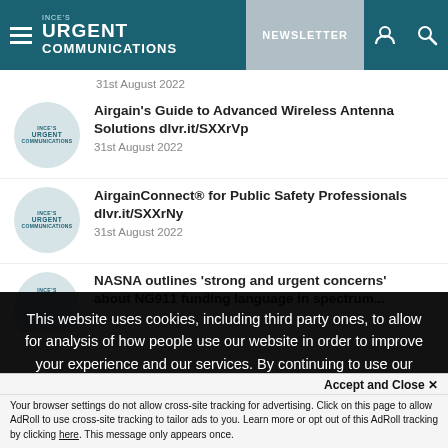INCE's URGENT COMMUNICATIONS | NEWSLETTER
31st August 2022
Airgain's Guide to Advanced Wireless Antenna Solutions dlvr.it/SXXrVp
31st August 2022
AirgainConnect® for Public Safety Professionals dlvr.it/SXXrNy
31st August 2022
NASNA outlines 'strong and urgent concerns' about NG911 funding language in spectrum...
This website uses cookies, including third party ones, to allow for analysis of how people use our website in order to improve your experience and our services. By continuing to use our website, you agree to the use of such cookies. Click here for more information on our Cookie Policy and Privacy Policy
Accept and Close ✕
Your browser settings do not allow cross-site tracking for advertising. Click on this page to allow AdRoll to use cross-site tracking to tailor ads to you. Learn more or opt out of this AdRoll tracking by clicking here. This message only appears once.